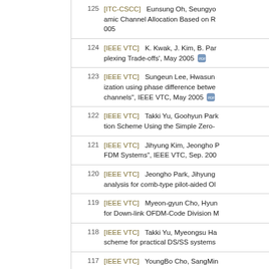125 [ITC-CSCC]   Eunsung Oh, Seungyo... amic Channel Allocation Based on R... 005
124 [IEEE VTC]   K. Kwak, J. Kim, B. Par... plexing Trade-offs', May 2005
123 [IEEE VTC]   Sungeun Lee, Hwasun... ization using phase difference betwe... channels", IEEE VTC, May 2005
122 [IEEE VTC]   Takki Yu, Goohyun Par... tion Scheme Using the Simple Zero-...
121 [IEEE VTC]   Jihyung Kim, Jeongho ... FDM Systems", IEEE VTC, Sep. 200...
120 [IEEE VTC]   Jeongho Park, Jihyung... analysis for comb-type pilot-aided OL...
119 [IEEE VTC]   Myeon-gyun Cho, Hyun... for Down-link OFDM-Code Division M...
118 [IEEE VTC]   Takki Yu, Myeongsu Ha... scheme for practical DS/SS systems...
117 [IEEE VTC]   YoungBo Cho, SangMin... estimation method for chip-interleave...
116 [IEEE ICC]   Youngju Kim, Taeyoun...